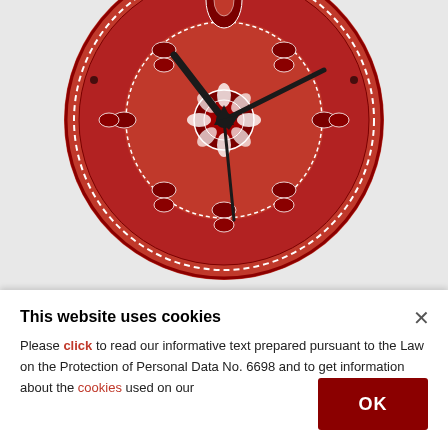[Figure (photo): A round wall clock with a red bandana/paisley pattern face. The clock has black hour and minute hands pointing roughly to 10:10. The clock sits on a light gray background, and the bottom portion of the circle is cut off at the image boundary.]
This website uses cookies
Please click to read our informative text prepared pursuant to the Law on the Protection of Personal Data No. 6698 and to get information about the cookies used on our